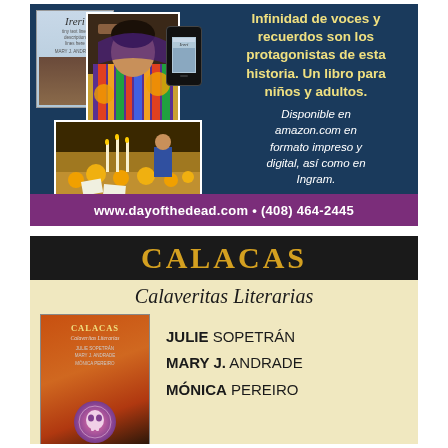[Figure (illustration): Advertisement for 'Ireri' book featuring book cover, photo of indigenous children in colorful traditional clothing, a phone displaying the book, and an outdoor ceremonial scene with candles and marigolds on dark blue background]
Infinidad de voces y recuerdos son los protagonistas de esta historia. Un libro para niños y adultos. Disponible en amazon.com en formato impreso y digital, así como en Ingram.
www.dayofthedead.com • (408) 464-2445
[Figure (illustration): Advertisement for 'CALACAS - Calaveritas Literarias' book showing the book cover with orange/red background and skull design, on a cream/beige background]
CALACAS
Calaveritas Literarias
JULIE SOPETRÁN
MARY J. ANDRADE
MÓNICA PEREIRO